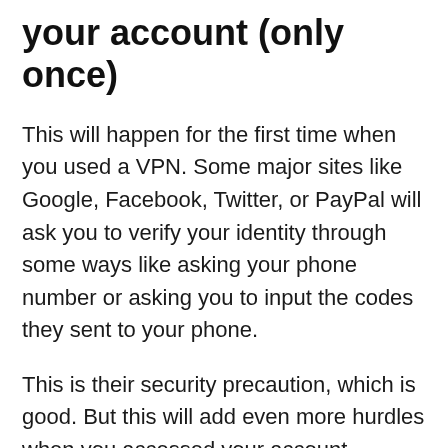your account (only once)
This will happen for the first time when you used a VPN. Some major sites like Google, Facebook, Twitter, or PayPal will ask you to verify your identity through some ways like asking your phone number or asking you to input the codes they sent to your phone.
This is their security precaution, which is good. But this will add even more hurdles when you accessed your account through several devices like your laptop, phone, and tablet — which is a very common scenario these days.
If you don't purchase the plan that allowed you to